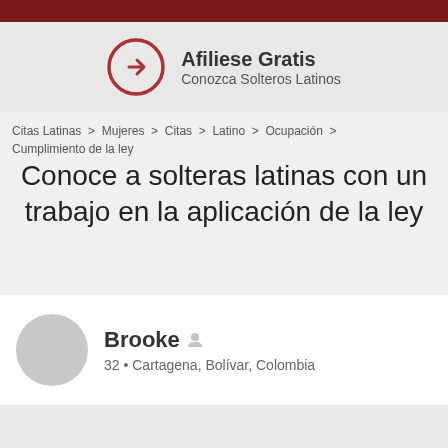[Figure (other): Dark red top navigation bar]
[Figure (other): Advertisement banner with circular arrow icon, text: Afiliese Gratis / Conozca Solteros Latinos]
Citas Latinas > Mujeres > Citas > Latino > Ocupación > Cumplimiento de la ley
Conoce a solteras latinas con un trabajo en la aplicación de la ley
Brooke • 32 • Cartagena, Bolívar, Colombia